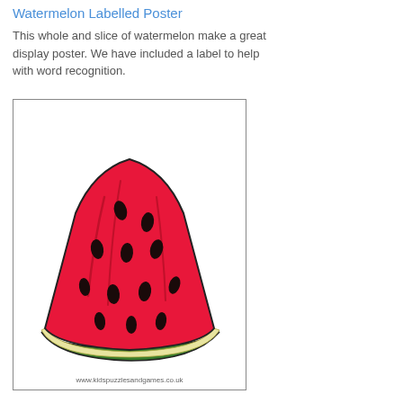Watermelon Labelled Poster
This whole and slice of watermelon make a great display poster. We have included a label to help with word recognition.
[Figure (illustration): A illustrated watermelon slice (triangular piece) with red flesh, dark seeds, and green/yellow rind, drawn in cartoon style inside a bordered poster frame.]
www.kidspuzzlesandgames.co.uk